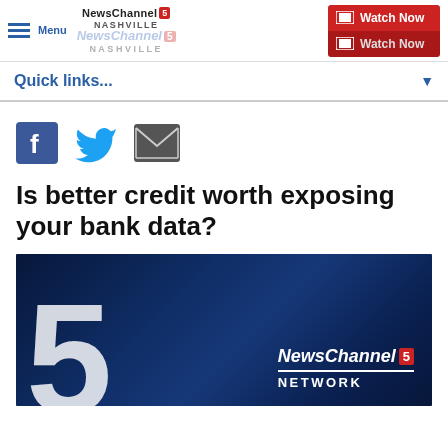Menu | NewsChannel 5 Nashville | Watch Now
Quick links...
[Figure (illustration): Social media share icons: Facebook (blue square with f), Twitter (blue bird), Email (dark envelope)]
Is better credit worth exposing your bank data?
[Figure (screenshot): NewsChannel 5 Network branding image with large white 5 numeral on dark blue background and NewsChannel 5 Network logo overlay]